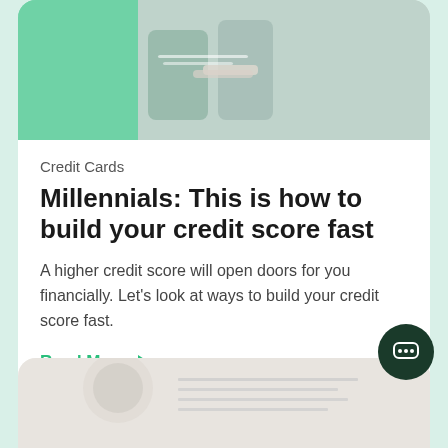[Figure (photo): Photo of two people exchanging documents, with a green tinted background]
Credit Cards
Millennials: This is how to build your credit score fast
A higher credit score will open doors for you financially. Let's look at ways to build your credit score fast.
Read More ▶
[Figure (photo): Partial view of a second article card showing a notebook or planner with a coffee cup]